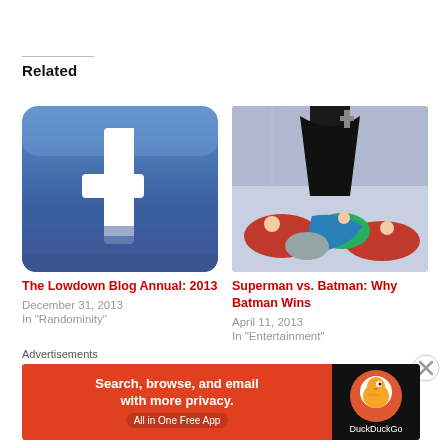Related
[Figure (logo): Facebook logo icon — rounded square blue gradient background with white 'f' letterform]
The Lowdown Blog Annual: 2013
December 31, 2013
In "Randominity"
[Figure (illustration): Comic book style illustration showing superheroes lying defeated on the ground with a dark caped figure standing above]
Superman vs. Batman: Why Batman Wins
April 11, 2013
In "Entertainment"
Advertisements
[Figure (screenshot): DuckDuckGo advertisement banner: orange/red background with text 'Search, browse, and email with more privacy. All in One Free App' and DuckDuckGo duck logo on black background]